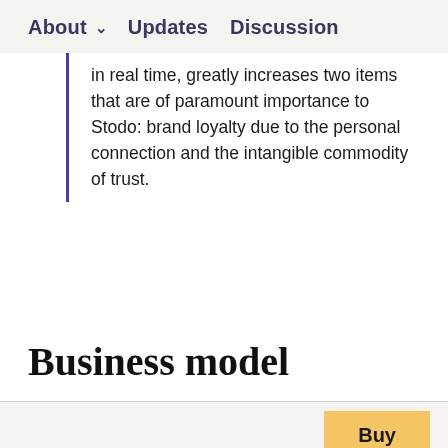About  ∨  Updates  Discussion
in real time, greatly increases two items that are of paramount importance to Stodo: brand loyalty due to the personal connection and the intangible commodity of trust.
Business model
Buy